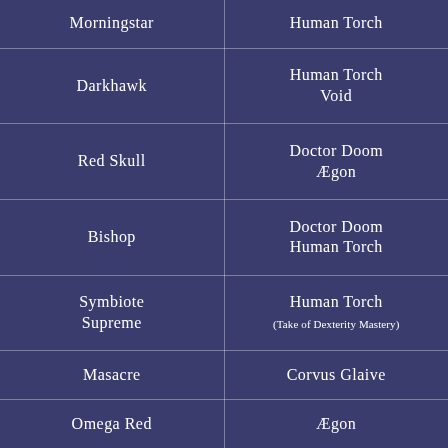| Morningstar | Human Torch |
| Darkhawk | Human Torch
Void |
| Red Skull | Doctor Doom
Ægon |
| Bishop | Doctor Doom
Human Torch |
| Symbiote Supreme | Human Torch
(Take of Dexterity Mastery) |
| Masacre | Corvus Glaive |
| Omega Red | Ægon |